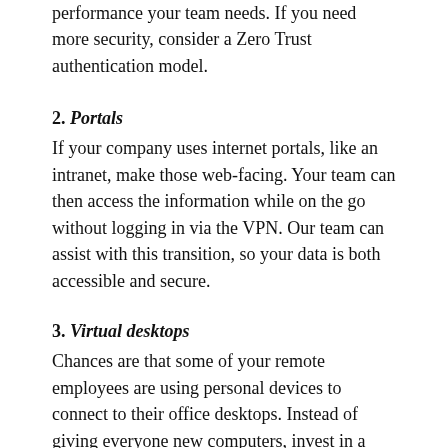performance your team needs. If you need more security, consider a Zero Trust authentication model.
2. Portals
If your company uses internet portals, like an intranet, make those web-facing. Your team can then access the information while on the go without logging in via the VPN. Our team can assist with this transition, so your data is both accessible and secure.
3. Virtual desktops
Chances are that some of your remote employees are using personal devices to connect to their office desktops. Instead of giving everyone new computers, invest in a virtual desktop environment (on your own server or in the cloud). A VDI offers a higher level of security since all the computing takes place on your servers. It’s also scalable. You can adjust the desktop power and add more capacity if needed. IT Support RI’s engineers can custom design a solution for you.